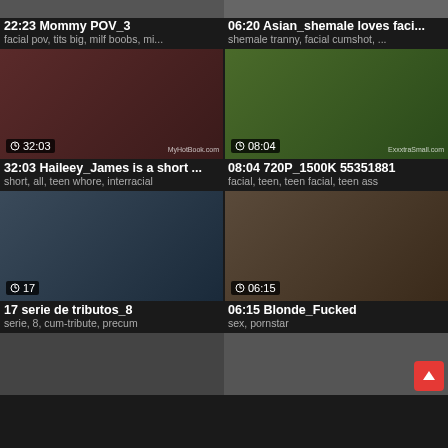[Figure (screenshot): Top partial thumbnail row showing two video thumbnails cropped at top]
22:23 Mommy POV_3
facial pov, tits big, milf boobs, mi...
06:20 Asian_shemale loves faci...
shemale tranny, facial cumshot, ...
[Figure (screenshot): Video thumbnail for Haileey_James with duration 32:03 and watermark MyHotBook.com]
32:03 Haileey_James is a short ...
short, all, teen whore, interracial
[Figure (screenshot): Video thumbnail for 720P_1500K 55351881 with duration 08:04 and watermark ExxxtraSmall.com]
08:04 720P_1500K 55351881
facial, teen, teen facial, teen ass
[Figure (screenshot): Video thumbnail for serie de tributos_8 with duration 17]
17 serie de tributos_8
serie, 8, cum-tribute, precum
[Figure (screenshot): Video thumbnail for Blonde_Fucked with duration 06:15]
06:15 Blonde_Fucked
sex, pornstar
[Figure (screenshot): Bottom partial thumbnail row showing two video thumbnails cropped at bottom]